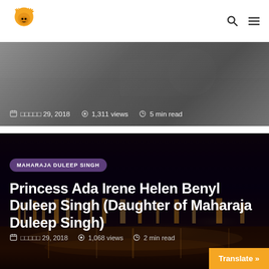Navigation bar with logo and search/menu icons
[Figure (screenshot): Grayscale photo card (partial view of top article) with date, views, and reading time metadata: □□□□□ 29, 2018 · 1,311 views · 5 min read]
[Figure (photo): Dark night cityscape photo card showing illuminated temple/palace reflected in water, with category badge 'MAHARAJA DULEEP SINGH']
Princess Ada Irene Helen Benyl Duleep Singh (Daughter of Maharaja Duleep Singh)
□□□□□ 29, 2018  1,068 views  2 min read